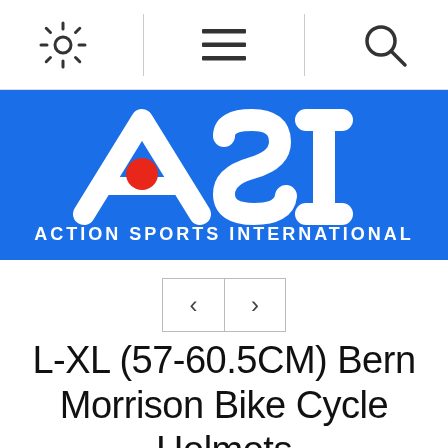Navigation bar with settings, menu, and search icons
[Figure (logo): ASI Action Sports International logo — white ASI letters with red dot on blue background, with text ACTION SPORTS INTERNATIONAL below]
[Figure (other): Left and right arrow navigation buttons]
L-XL (57-60.5CM) Bern Morrison Bike Cycle Helmets
Home / Bike / Helmets /
L-XL (57-60.5CM) Bern Morrison Bike Cycle Helmets